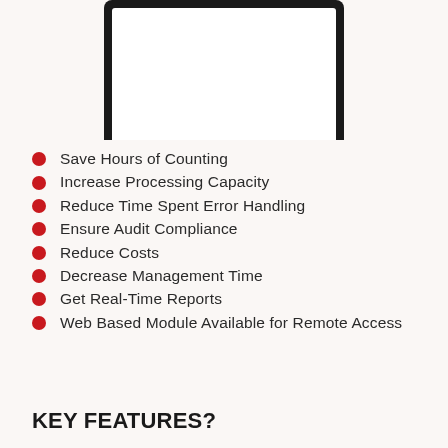[Figure (illustration): Illustration of a desktop computer monitor with a white screen and grey stand, partially cropped at top]
Save Hours of Counting
Increase Processing Capacity
Reduce Time Spent Error Handling
Ensure Audit Compliance
Reduce Costs
Decrease Management Time
Get Real-Time Reports
Web Based Module Available for Remote Access
KEY FEATURES?